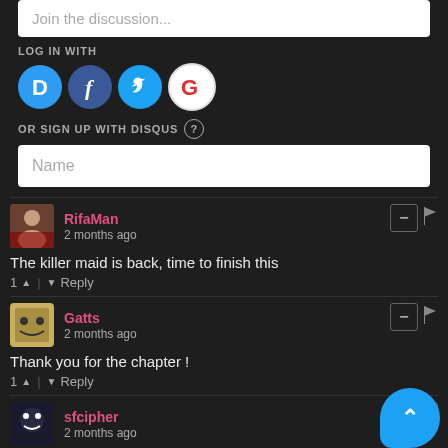Join the discussion...
LOG IN WITH
[Figure (infographic): Social login icons: Disqus (blue D), Facebook (dark blue f), Twitter (light blue bird), Google (red G)]
OR SIGN UP WITH DISQUS ?
Name
RifaMan
2 months ago
The killer maid is back, time to finish this
1 ^ | v Reply
Gatts
2 months ago
Thank you for the chapter !
1 ^ | v Reply
sfcipher
2 months ago